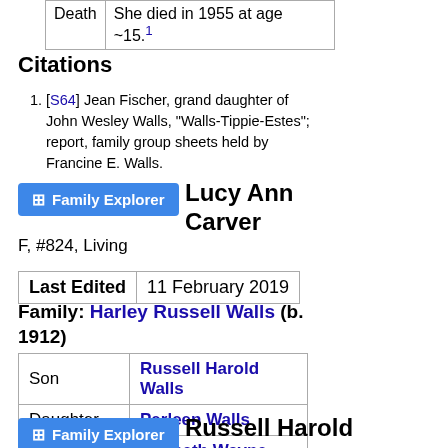|  |  |
| --- | --- |
| Death | She died in 1955 at age ~15.¹ |
Citations
[S64] Jean Fischer, grand daughter of John Wesley Walls, "Walls-Tippie-Estes"; report, family group sheets held by Francine E. Walls.
[Figure (other): Family Explorer button]
Lucy Ann Carver
F, #824, Living
| Last Edited | 11 February 2019 |
| --- | --- |
Family: Harley Russell Walls (b. 1912)
|  |  |
| --- | --- |
| Son | Russell Harold Walls |
| Daughter | Perleen Walls |
| Son | Kenneth Wayne Walls |
| Son | Everett Don Walls |
[Figure (other): Family Explorer button]
Russell Harold